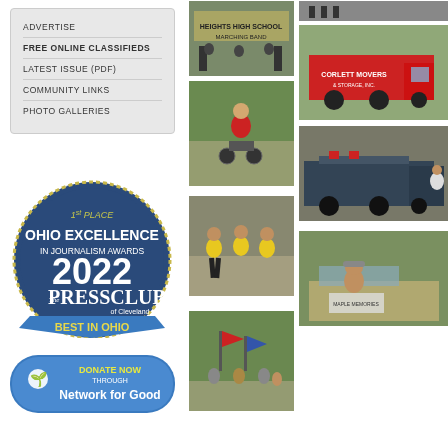ADVERTISE
FREE ONLINE CLASSIFIEDS
LATEST ISSUE (PDF)
COMMUNITY LINKS
PHOTO GALLERIES
[Figure (logo): 1st Place Ohio Excellence in Journalism Awards 2022, The Press Club of Cleveland, Best in Ohio badge]
[Figure (logo): Donate Now Through Network for Good button]
[Figure (photo): Heights High School Marching Band parade photo]
[Figure (photo): Person in red shirt at parade]
[Figure (photo): Corlett Movers red truck in parade]
[Figure (photo): Children in yellow shirts running in parade]
[Figure (photo): Fire truck in parade]
[Figure (photo): Parade participants with flags and banners]
[Figure (photo): Person in vehicle at parade]